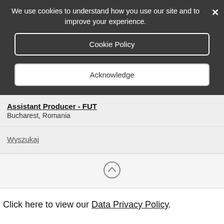We use cookies to understand how you use our site and to improve your experience.
Cookie Policy
Acknowledge
Assistant Producer - FUT
Bucharest, Romania
Wyszukaj
[Figure (other): Upward arrow icon in a circle (scroll to top button)]
Click here to view our Data Privacy Policy.